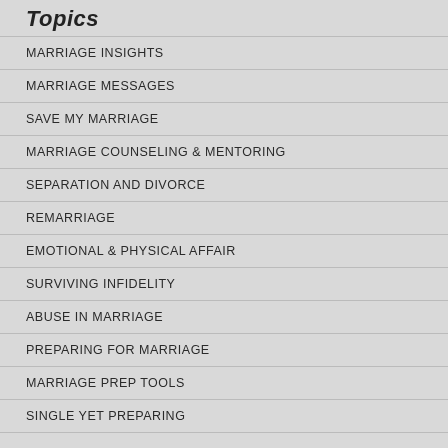Topics
MARRIAGE INSIGHTS
MARRIAGE MESSAGES
SAVE MY MARRIAGE
MARRIAGE COUNSELING & MENTORING
SEPARATION AND DIVORCE
REMARRIAGE
EMOTIONAL & PHYSICAL AFFAIR
SURVIVING INFIDELITY
ABUSE IN MARRIAGE
PREPARING FOR MARRIAGE
MARRIAGE PREP TOOLS
SINGLE YET PREPARING